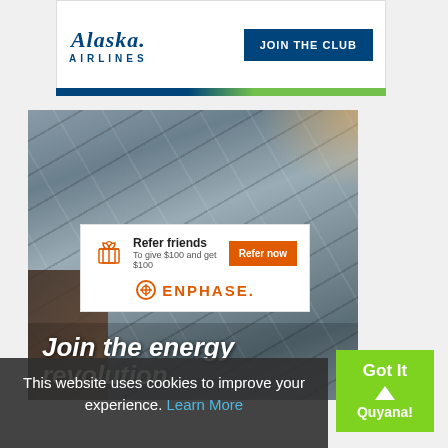[Figure (advertisement): Alaska Airlines banner ad with italic script logo, 'AIRLINES' text, and 'JOIN THE CLUB' button on dark blue background]
[Figure (photo): Close-up photo of dark solar panels on a roof at sunset/dusk with warm orange light in top corner and wooden/brick corner visible at bottom left]
[Figure (advertisement): Enphase referral box: gift icon, 'Refer friends - To give $100 and get $100', orange 'Refer now' button, and Enphase logo in orange]
Join the energy revolution
This website uses cookies to improve your experience. Learn More
[Figure (other): Green 'Got It Quyana!' button with upward arrow icon]